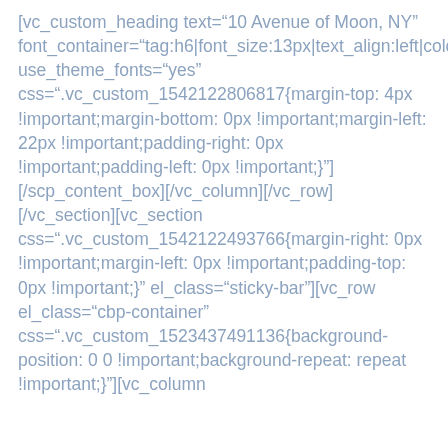[vc_custom_heading text="10 Avenue of Moon, NY" font_container="tag:h6|font_size:13px|text_align:left|color:rgba(255%2C255%2C255%2C0.63)|line_height:18px" use_theme_fonts="yes" css=".vc_custom_1542122806817{margin-top: 4px !important;margin-bottom: 0px !important;margin-left: 22px !important;padding-right: 0px !important;padding-left: 0px !important;}"] [/scp_content_box][/vc_column][/vc_row][/vc_section][vc_section css=".vc_custom_1542122493766{margin-right: 0px !important;margin-left: 0px !important;padding-top: 0px !important;}" el_class="sticky-bar"][vc_row el_class="cbp-container" css=".vc_custom_1523437491136{background-position: 0 0 !important;background-repeat: repeat !important;}"][vc_column